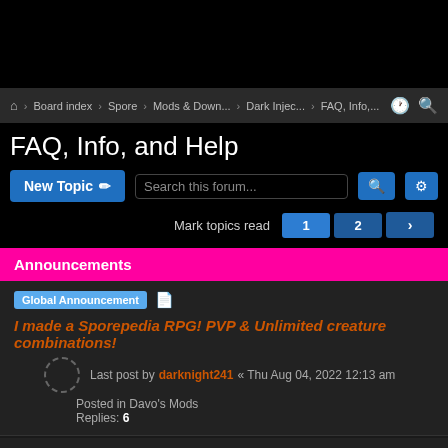Board index > Spore > Mods & Down... > Dark Injec... > FAQ, Info,...
FAQ, Info, and Help
New Topic | Search this forum... | Mark topics read | 1 | 2 | >
Announcements
Global Announcement | I made a Sporepedia RPG! PVP & Unlimited creature combinations! | Last post by darknight241 « Thu Aug 04, 2022 12:13 am | Posted in Davo's Mods | Replies: 6
Global Announcement | NOTICE: Do Not Use Google Drive to Host Spore Mods | Last post by GBAura « Tue Apr 19, 2022 5:33 pm | Posted in Mod Discussion